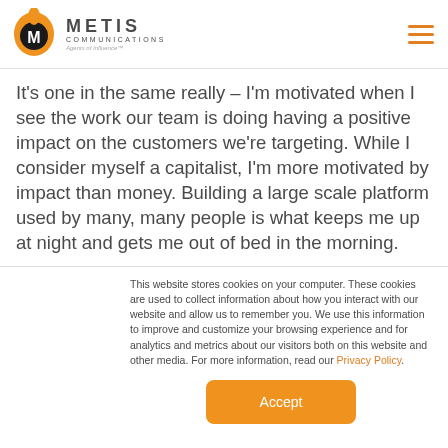Metis Communications — Agents of Influence
It's one in the same really – I'm motivated when I see the work our team is doing having a positive impact on the customers we're targeting. While I consider myself a capitalist, I'm more motivated by impact than money. Building a large scale platform used by many, many people is what keeps me up at night and gets me out of bed in the morning.
This website stores cookies on your computer. These cookies are used to collect information about how you interact with our website and allow us to remember you. We use this information to improve and customize your browsing experience and for analytics and metrics about our visitors both on this website and other media. For more information, read our Privacy Policy.
Accept